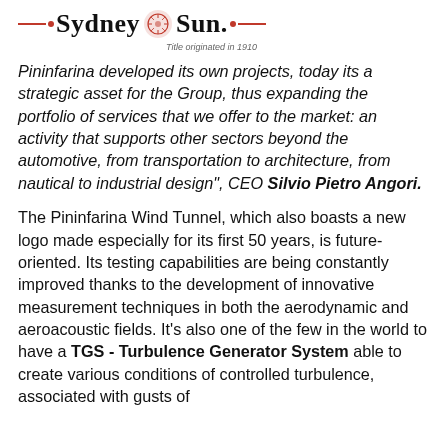Sydney Sun • Title originated in 1910
Pininfarina developed its own projects, today its a strategic asset for the Group, thus expanding the portfolio of services that we offer to the market: an activity that supports other sectors beyond the automotive, from transportation to architecture, from nautical to industrial design", CEO Silvio Pietro Angori.
The Pininfarina Wind Tunnel, which also boasts a new logo made especially for its first 50 years, is future-oriented. Its testing capabilities are being constantly improved thanks to the development of innovative measurement techniques in both the aerodynamic and aeroacoustic fields. It's also one of the few in the world to have a TGS - Turbulence Generator System able to create various conditions of controlled turbulence, associated with gusts of